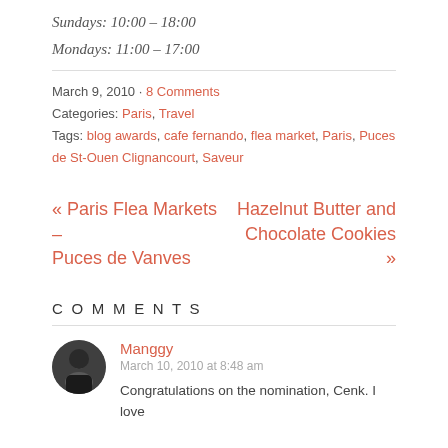Sundays: 10:00 – 18:00
Mondays: 11:00 – 17:00
March 9, 2010 · 8 Comments
Categories: Paris, Travel
Tags: blog awards, cafe fernando, flea market, Paris, Puces de St-Ouen Clignancourt, Saveur
« Paris Flea Markets – Puces de Vanves
Hazelnut Butter and Chocolate Cookies »
COMMENTS
Manggy
March 10, 2010 at 8:48 am
Congratulations on the nomination, Cenk. I love